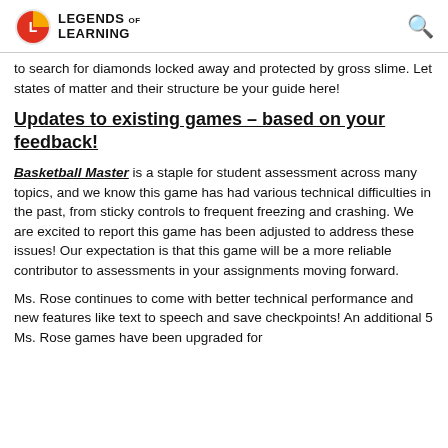Legends of Learning
to search for diamonds locked away and protected by gross slime. Let states of matter and their structure be your guide here!
Updates to existing games – based on your feedback!
Basketball Master is a staple for student assessment across many topics, and we know this game has had various technical difficulties in the past, from sticky controls to frequent freezing and crashing. We are excited to report this game has been adjusted to address these issues! Our expectation is that this game will be a more reliable contributor to assessments in your assignments moving forward.
Ms. Rose continues to come with better technical performance and new features like text to speech and save checkpoints! An additional 5 Ms. Rose games have been upgraded for performance and content updates.